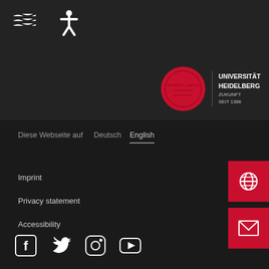[Figure (logo): Two white accessibility/water icons at top left]
[Figure (logo): Universität Heidelberg logo: red circular seal with vertical divider and white text UNIVERSITÄT HEIDELBERG ZUKUNFT SEIT 1386]
Diese Webseite auf
Deutsch
English
Imprint
Privacy statement
Accessibility
[Figure (logo): Social media icons: Facebook, Twitter, Instagram, YouTube]
[Figure (logo): Red globe/world icon button on right side]
[Figure (logo): Red envelope/mail icon button on right side]